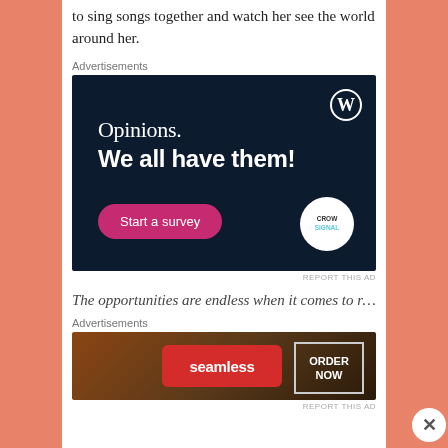to sing songs together and watch her see the world around her.
Advertisements
[Figure (illustration): WordPress/Crowdsignal advertisement on dark navy background. Shows WordPress logo (W in circle) top right, text 'Opinions. We all have them!', a pink 'Start a survey' button bottom-left, and Crowdsignal badge bottom-right.]
REPORT THIS AD
The opportunities are endless when it comes to road trips!
Advertisements
[Figure (illustration): Seamless food delivery advertisement. Dark background with pizza image on left, red Seamless logo in center, ORDER NOW box on right.]
REPORT THIS AD